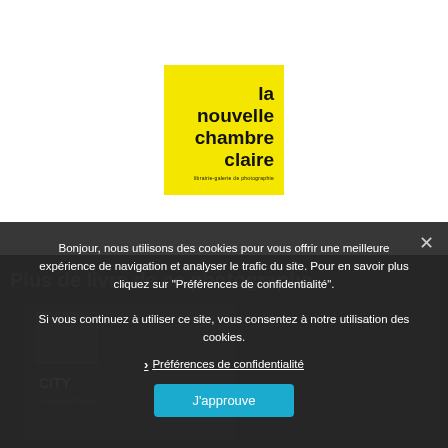[Figure (logo): La Nouvelle Chambre Claire logo — yellow square with black bold text reading 'la nouvelle chambre claire' and small subtitle 'librairie-galerie de photographie']
Plus de livre de ce photographe
[Figure (photo): Partially visible book cover in dark background area — shows 'CITY' text and 'CLOSED ENTRANCE']
Bonjour, nous utilisons des cookies pour vous offrir une meilleure expérience de navigation et analyser le trafic du site. Pour en savoir plus cliquez sur "Préférences de confidentialité". Si vous continuez à utiliser ce site, vous consentez à notre utilisation des cookies.
Préférences de confidentialité
J'approuve